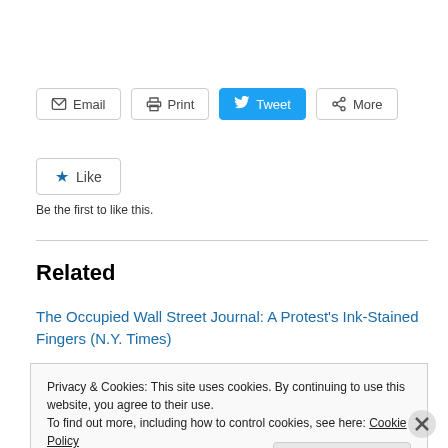[Figure (screenshot): Row of social sharing buttons: Email, Print, Tweet (blue), More]
[Figure (screenshot): Like button with star icon]
Be the first to like this.
Related
The Occupied Wall Street Journal: A Protest's Ink-Stained Fingers (N.Y. Times)
Privacy & Cookies: This site uses cookies. By continuing to use this website, you agree to their use.
To find out more, including how to control cookies, see here: Cookie Policy
Close and accept